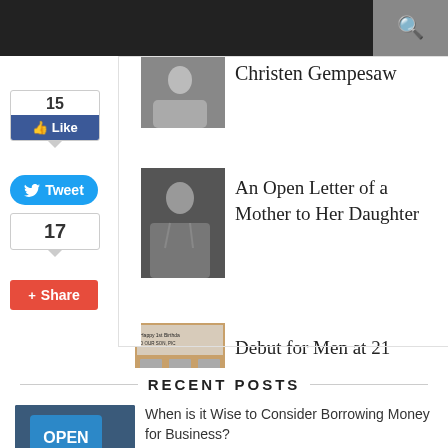15 Like
Tweet
17
Share
Christen Gempesaw
An Open Letter of a Mother to Her Daughter
[Figure (photo): Black and white photo of a woman]
Debut for Men at 21
[Figure (photo): Birthday collage photo with text Happy 1st Birthday TO OUR SON, PIC]
RECENT POSTS
When is it Wise to Consider Borrowing Money for Business?
[Figure (photo): Open sign in shop window with SHOP text below]